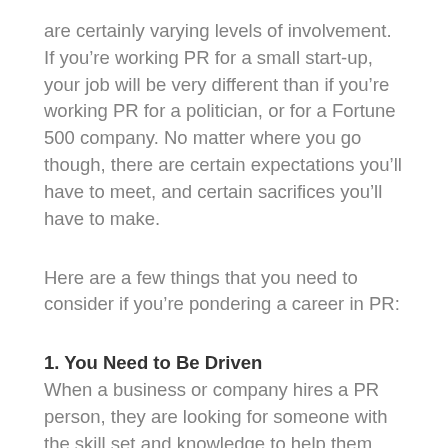are certainly varying levels of involvement. If you're working PR for a small start-up, your job will be very different than if you're working PR for a politician, or for a Fortune 500 company. No matter where you go though, there are certain expectations you'll have to meet, and certain sacrifices you'll have to make.
Here are a few things that you need to consider if you're pondering a career in PR:
1. You Need to Be Driven
When a business or company hires a PR person, they are looking for someone with the skill set and knowledge to help them, because they don't know what they're doing. Unless you're specifically